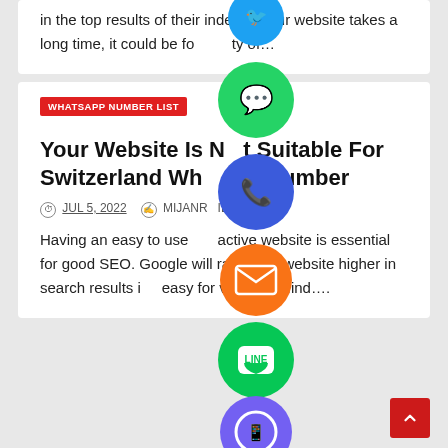in the top results of their index. If your website takes a long time, it could be for a variety of…
WHATSAPP NUMBER LIST
Your Website Is Not Suitable For Switzerland WhatsApp Number
JUL 5, 2022   MIJANR…IL
Having an easy to use interactive website is essential for good SEO. Google will rank your website higher in search results if easy for visitors to find….